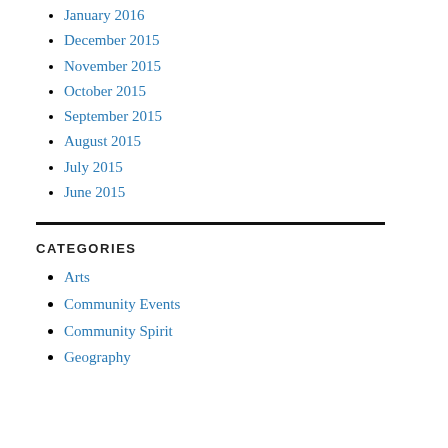January 2016
December 2015
November 2015
October 2015
September 2015
August 2015
July 2015
June 2015
CATEGORIES
Arts
Community Events
Community Spirit
Geography